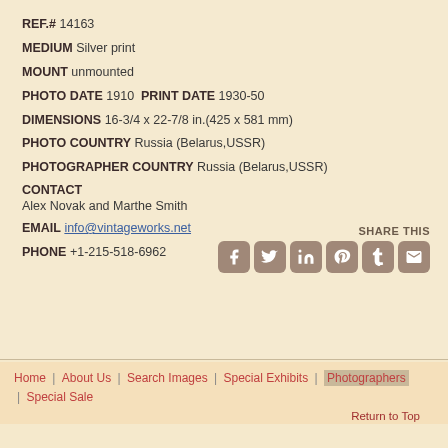REF.# 14163
MEDIUM Silver print
MOUNT unmounted
PHOTO DATE 1910  PRINT DATE 1930-50
DIMENSIONS 16-3/4 x 22-7/8 in.(425 x 581 mm)
PHOTO COUNTRY Russia (Belarus,USSR)
PHOTOGRAPHER COUNTRY Russia (Belarus,USSR)
CONTACT
Alex Novak and Marthe Smith
EMAIL info@vintageworks.net
PHONE +1-215-518-6962
[Figure (infographic): SHARE THIS social media icons: Facebook, Twitter, LinkedIn, Pinterest, Tumblr, Email]
Home | About Us | Search Images | Special Exhibits | Photographers | Special Sale
Return to Top